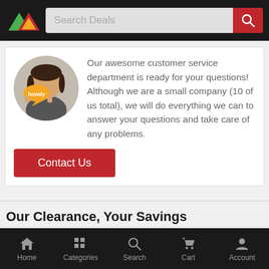Search Deals
[Figure (photo): Customer service representative holding a speech bubble sign that says 'howdy']
Our awesome customer service department is ready for your questions! Although we are a small company (10 of us total), we will do everything we can to answer your questions and take care of any problems.
Contact Us
Our Clearance, Your Savings
Home  Categories  Search  Cart  Account